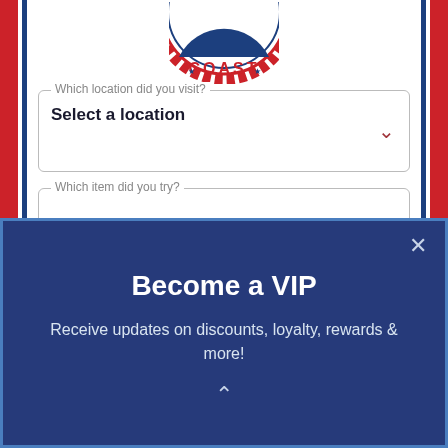[Figure (logo): Circular badge logo with text COAST and decorative elements, partially cropped at top]
Which location did you visit?
Select a location
Which item did you try?
Become a VIP
Receive updates on discounts, loyalty, rewards & more!